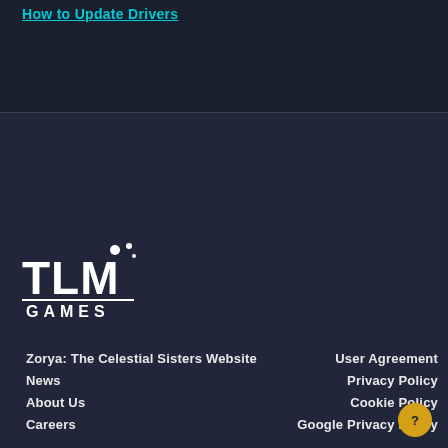How to Update Drivers
[Figure (logo): TLM Games logo — white bold letters TLM with decorative dots above M, underline, and GAMES text below]
Zorya: The Celestial Sisters Website
News
About Us
Careers
User Agreement
Privacy Policy
Cookie Policy
Google Privacy Policy
© 2020-2022 TLM Partners Inc. | All Rights Reserved.
Brands, product names, and logos are the trademarks of their respective owners.